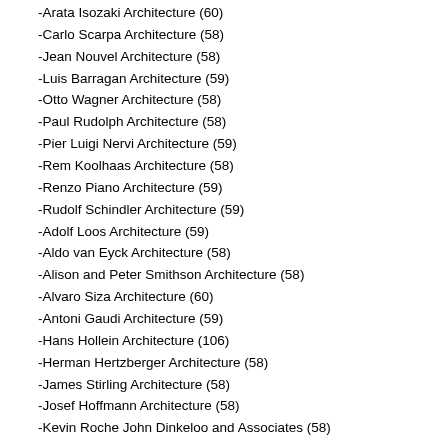-Arata Isozaki Architecture (60)
-Carlo Scarpa Architecture (58)
-Jean Nouvel Architecture (58)
-Luis Barragan Architecture (59)
-Otto Wagner Architecture (58)
-Paul Rudolph Architecture (58)
-Pier Luigi Nervi Architecture (59)
-Rem Koolhaas Architecture (58)
-Renzo Piano Architecture (59)
-Rudolf Schindler Architecture (59)
-Adolf Loos Architecture (59)
-Aldo van Eyck Architecture (58)
-Alison and Peter Smithson Architecture (58)
-Alvaro Siza Architecture (60)
-Antoni Gaudi Architecture (59)
-Hans Hollein Architecture (106)
-Herman Hertzberger Architecture (58)
-James Stirling Architecture (58)
-Josef Hoffmann Architecture (58)
-Kevin Roche John Dinkeloo and Associates (58)